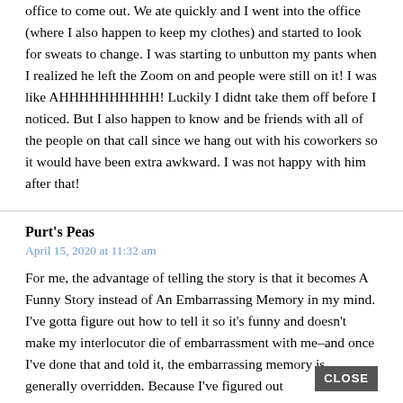office to come out. We ate quickly and I went into the office (where I also happen to keep my clothes) and started to look for sweats to change. I was starting to unbutton my pants when I realized he left the Zoom on and people were still on it! I was like AHHHHHHHHHH! Luckily I didnt take them off before I noticed. But I also happen to know and be friends with all of the people on that call since we hang out with his coworkers so it would have been extra awkward. I was not happy with him after that!
Purt's Peas
April 15, 2020 at 11:32 am
For me, the advantage of telling the story is that it becomes A Funny Story instead of An Embarrassing Memory in my mind. I've gotta figure out how to tell it so it's funny and doesn't make my interlocutor die of embarrassment with me–and once I've done that and told it, the embarrassing memory is generally overridden. Because I've figured out